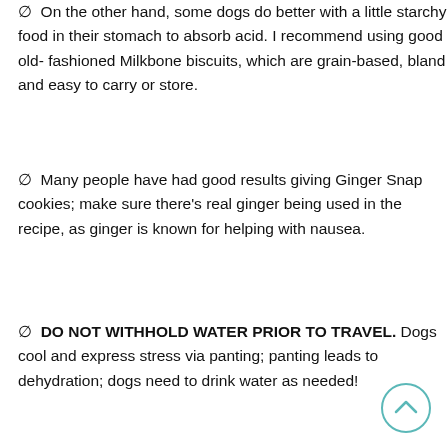∅  On the other hand, some dogs do better with a little starchy food in their stomach to absorb acid. I recommend using good old- fashioned Milkbone biscuits, which are grain-based, bland and easy to carry or store.
∅  Many people have had good results giving Ginger Snap cookies; make sure there's real ginger being used in the recipe, as ginger is known for helping with nausea.
∅  DO NOT WITHHOLD WATER PRIOR TO TRAVEL. Dogs cool and express stress via panting; panting leads to dehydration; dogs need to drink water as needed!